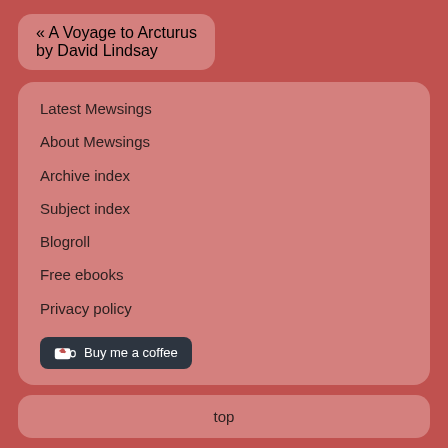« A Voyage to Arcturus by David Lindsay
Latest Mewsings
About Mewsings
Archive index
Subject index
Blogroll
Free ebooks
Privacy policy
[Figure (other): Buy me a coffee button with heart/coffee cup icon]
top
All text (except quotes) © Murray Ewing 2022. Site powered by WordPress.
☺